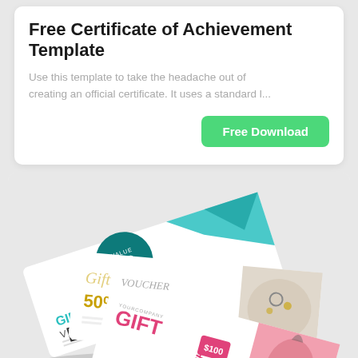Free Certificate of Achievement Template
Use this template to take the headache out of creating an official certificate. It uses a standard l...
Free Download
[Figure (photo): Three gift voucher templates fanned out: one teal with '100$' value circle and GIFT VOUCHER text, one gold/white with '50% OFF' and Gift Voucher text, one pink with GIFT VOUCHER and '$100' badge.]